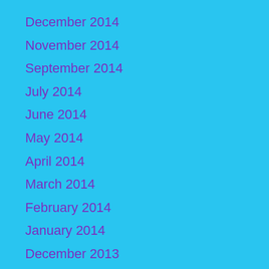December 2014
November 2014
September 2014
July 2014
June 2014
May 2014
April 2014
March 2014
February 2014
January 2014
December 2013
October 2013
September 2013
August 2013
July 2013